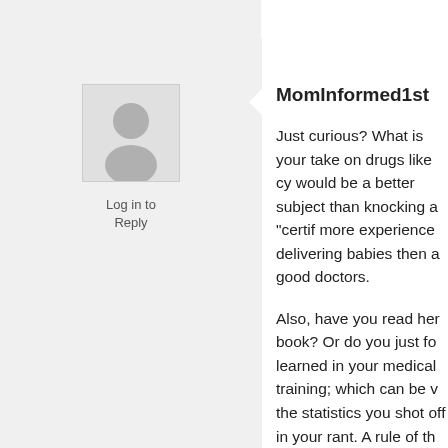[Figure (photo): Generic user avatar placeholder image — gray silhouette of a person on light gray background]
Log in to Reply
MomInformed1st
Just curious? What is your take on drugs like cy would be a better subject than knocking a "certif more experience delivering babies then a good doctors.
Also, have you read her book? Or do you just fo learned in your medical training; which can be v the statistics you shot off in your rant. A rule of th objective as MOST statistics are bias to the par founded/applied the research.
Gaskin is a person who recognizes the obvious interventions used to rob women of their natural way God intended! Faith or no faith- a proven fa doctors across this country put women at risk- fa the drug Cytotec (which has yet to be approved, of inducing labor- and continues to HARM)!
Where is the rant about that? Why is that not a t